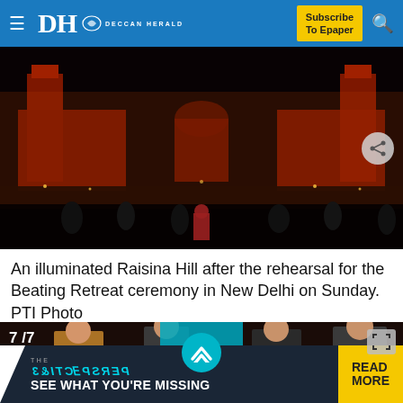DH DECCAN HERALD | Subscribe To Epaper
[Figure (photo): Raisina Hill illuminated in red/orange light at night during Beating Retreat rehearsal, with crowd of people in foreground, New Delhi]
An illuminated Raisina Hill after the rehearsal for the Beating Retreat ceremony in New Delhi on Sunday. PTI Photo
[Figure (photo): 7/7 - Group of men in formal/traditional wear at night event, with teal up-arrow button overlay and fullscreen expand icon]
[Figure (infographic): Advertisement banner: THE PERSPECTIVE (mirrored) SEE WHAT YOU'RE MISSING | READ MORE]